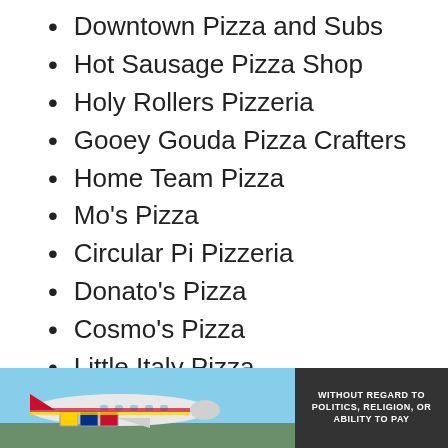Downtown Pizza and Subs
Hot Sausage Pizza Shop
Holy Rollers Pizzeria
Gooey Gouda Pizza Crafters
Home Team Pizza
Mo's Pizza
Circular Pi Pizzeria
Donato's Pizza
Cosmo's Pizza
Little Italy Pizza
Upside Pizza
[Figure (photo): Advertisement banner showing an airplane being loaded with cargo, with colorful stripes. Text overlay reads 'WITHOUT REGARD TO POLITICS, RELIGION, OR ABILITY TO PAY']